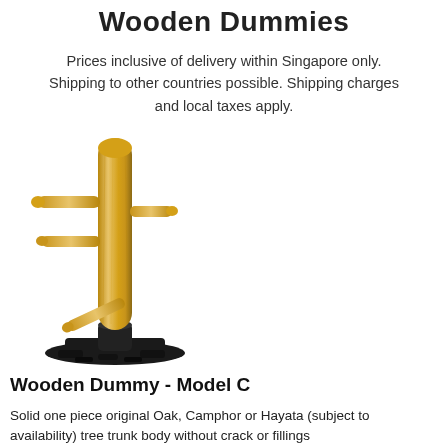Wooden Dummies
Prices inclusive of delivery within Singapore only. Shipping to other countries possible. Shipping charges and local taxes apply.
[Figure (photo): A wooden martial arts Wing Chun wooden dummy (Muk Yan Jong) with a cylindrical wooden trunk body, two upper arm pegs, one lower arm peg, a leg peg, and a black metal base/stand on a flat platform.]
Wooden Dummy - Model C
Solid one piece original Oak, Camphor or Hayata (subject to availability) tree trunk body without crack or fillings